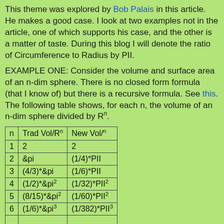This theme was explored by Bob Palais in this article. He makes a good case. I look at two examples not in the article, one of which supports his case, and the other is a matter of taste. During this blog I will denote the ratio of Circumference to Radius by PII.
EXAMPLE ONE: Consider the volume and surface area of an n-dim sphere. There is no closed form formula (that I know of) but there is a recursive formula. See this. The following table shows, for each n, the volume of an n-dim sphere divided by R^n.
| n | Trad Vol/R^n | New Vol/^n |
| --- | --- | --- |
| 1 | 2 | 2 |
| 2 | &pi | (1/4)*PII |
| 3 | (4/3)*&pi | (1/6)*PII |
| 4 | (1/2)*&pi² | (1/32)*PII² |
| 5 | (8/15)*&pi² | (1/60)*PII² |
| 6 | (1/6)*&pi³ | (1/382)*PII³ |